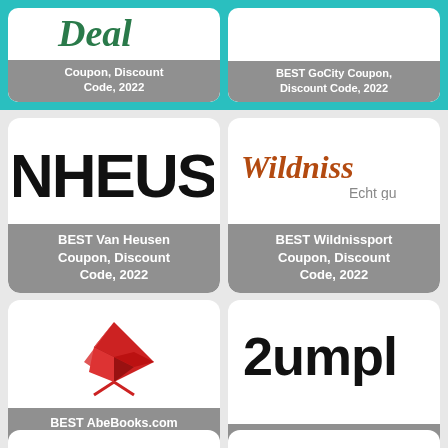[Figure (screenshot): Top teal bar with two coupon card tiles partially visible: 'Coupon, Discount Code, 2022' (left, with Deal logo) and 'BEST GoCity Coupon, Discount Code, 2022' (right)]
[Figure (screenshot): Card: BEST Van Heusen Coupon, Discount Code, 2022 with NHEUS logo text]
[Figure (screenshot): Card: BEST Wildnissport Coupon, Discount Code, 2022 with Wildniss logo]
[Figure (screenshot): Card: BEST AbeBooks.com Coupon, Discount Code, 2022 with red bird/book logo]
[Figure (screenshot): Card: BEST Rumpl Coupon, Discount Code, 2022 with Rumpl logo]
[Figure (screenshot): Bottom partial row: two cards partially visible, right one with green logo]